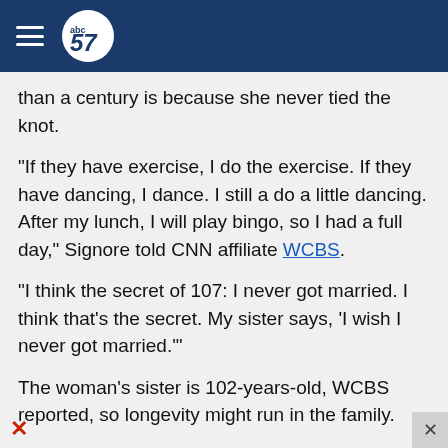abc57 (navigation header)
than a century is because she never tied the knot.
"If they have exercise, I do the exercise. If they have dancing, I dance. I still a do a little dancing. After my lunch, I will play bingo, so I had a full day," Signore told CNN affiliate WCBS.
"I think the secret of 107: I never got married. I think that's the secret. My sister says, 'I wish I never got married.'"
The woman's sister is 102-years-old, WCBS reported, so longevity might run in the family.
Signore celebrated her milestone with a birthday party at the IASA Bartow Community Center in Coop